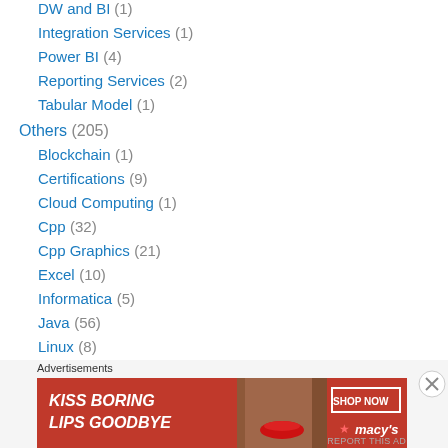DW and BI (1)
Integration Services (1)
Power BI (4)
Reporting Services (2)
Tabular Model (1)
Others (205)
Blockchain (1)
Certifications (9)
Cloud Computing (1)
Cpp (32)
Cpp Graphics (21)
Excel (10)
Informatica (5)
Java (56)
Linux (8)
Microsoft (15)
MS.net (2)
[Figure (infographic): Macy's advertisement banner: 'KISS BORING LIPS GOODBYE' with SHOP NOW button and Macy's star logo, featuring a woman's face]
Advertisements
REPORT THIS AD